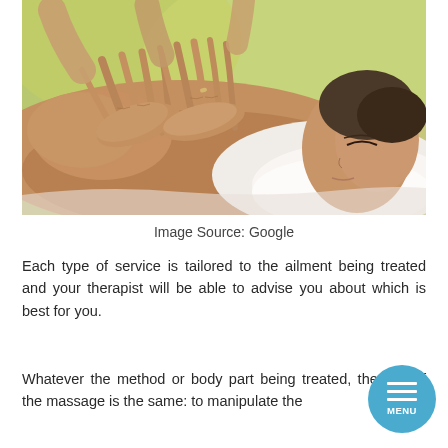[Figure (photo): A massage therapist's hands working on a person's back/shoulder area. The person is lying face down on a white pillow, eyes closed and relaxed. The background is a blurred warm green/yellow outdoor setting.]
Image Source: Google
Each type of service is tailored to the ailment being treated and your therapist will be able to advise you about which is best for you.
Whatever the method or body part being treated, the aim of the massage is the same: to manipulate the